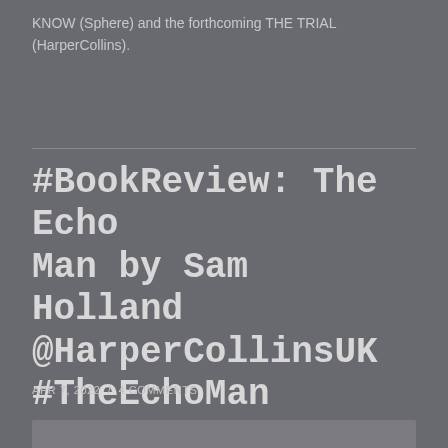KNOW (Sphere) and the forthcoming THE TRIAL (HarperCollins).
#BookReview: The Echo Man by Sam Holland @HarperCollinsUK #TheEchoMan #damppebbles
APR 7, 2022  /  4 COMMENTS